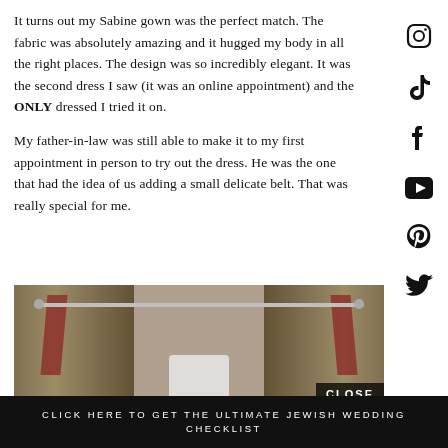It turns out my Sabine gown was the perfect match. The fabric was absolutely amazing and it hugged my body in all the right places. The design was so incredibly elegant. It was the second dress I saw (it was an online appointment) and the ONLY dressed I tried it on.
My father-in-law was still able to make it to my first appointment in person to try out the dress. He was the one that had the idea of us adding a small delicate belt. That was really special for me.
[Figure (photo): Photo of hanging curtains with floral pattern on a rod, brown/beige tones with red accents, against a textured wall]
CLOSE
CLICK HERE TO GET THE ULTIMATE JEWISH WEDDING CHECKLIST